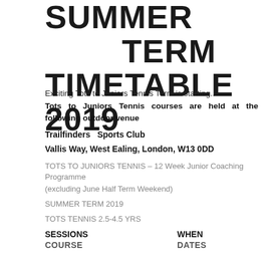SUMMER TERM TIMETABLE 2019
Exciting Tots to Juniors Tennis Term is starting....
Tots to Juniors Tennis courses are held at the following outdoor venue
Trailfinders  Sports Club
Vallis Way, West Ealing, London, W13 0DD
TOTS TO JUNIORS TENNIS – 12 Week Junior Coaching Programme
(excluding June Half Term Weekend)
SUMMER TERM 2019
TOTS TENNIS 2.5-4.5 YRS
SESSIONS    WHEN
COURSE    DATES